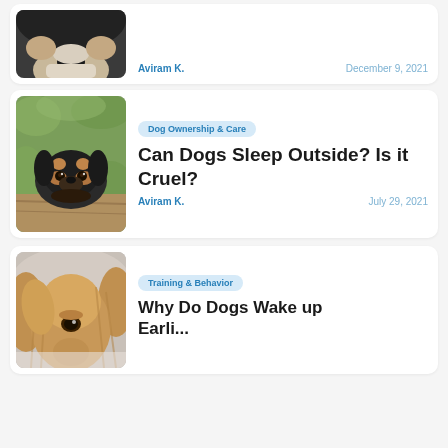[Figure (photo): Partial view of a dog's face (black and white dog, nose close-up), top card cut off at top]
Humans Are Sleeping?
Aviram K.    December 9, 2021
[Figure (photo): A small black and tan puppy (Yorkshire Terrier) resting its chin on a wooden surface, bokeh green background]
Dog Ownership & Care
Can Dogs Sleep Outside? Is it Cruel?
Aviram K.    July 29, 2021
[Figure (photo): Close-up of a brown/golden long-haired dog's face, lying down, partially cut off at bottom]
Training & Behavior
Why Do Dogs Wake up Earli...